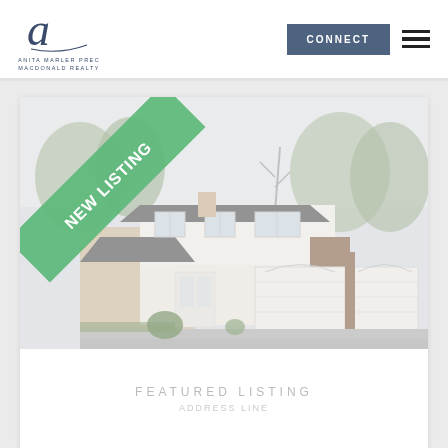[Figure (logo): Anita Marler PREC Macdonald Realty script logo with stylized 'A' in navy blue]
CONNECT
[Figure (illustration): Photo of a townhouse/semi-detached home with white and brick exterior, double garage doors, trees in background. Green diagonal 'NEW LISTING' banner on upper-left corner.]
FEATURED LISTING
ADDRESS LINE